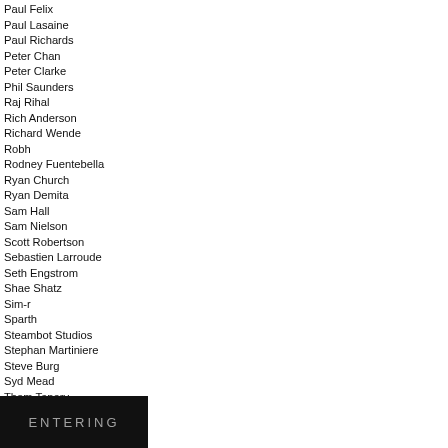Paul Felix
Paul Lasaine
Paul Richards
Peter Chan
Peter Clarke
Phil Saunders
Raj Rihal
Rich Anderson
Richard Wende
Robh
Rodney Fuentebella
Ryan Church
Ryan Demita
Sam Hall
Sam Nielson
Scott Robertson
Sebastien Larroude
Seth Engstrom
Shae Shatz
Sim-r
Sparth
Steambot Studios
Stephan Martiniere
Steve Burg
Syd Mead
Thom Tenery
Tom Scholes
Vaughan Ling
Wayne Barlowe
[Figure (illustration): Dark banner image with text 'ENTERING' in light gray letters on black background]